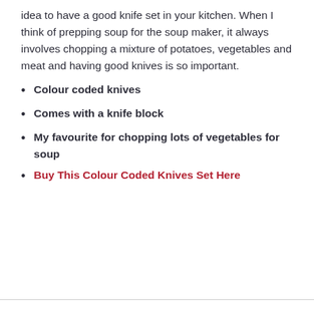idea to have a good knife set in your kitchen. When I think of prepping soup for the soup maker, it always involves chopping a mixture of potatoes, vegetables and meat and having good knives is so important.
Colour coded knives
Comes with a knife block
My favourite for chopping lots of vegetables for soup
Buy This Colour Coded Knives Set Here